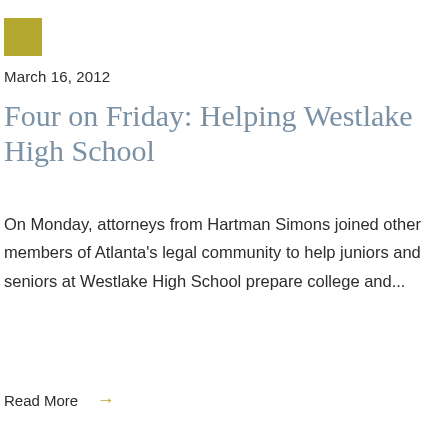[Figure (other): Gold/olive colored square decorative element in top left corner]
March 16, 2012
Four on Friday: Helping Westlake High School
On Monday, attorneys from Hartman Simons joined other members of Atlanta's legal community to help juniors and seniors at Westlake High School prepare college and...
Read More →